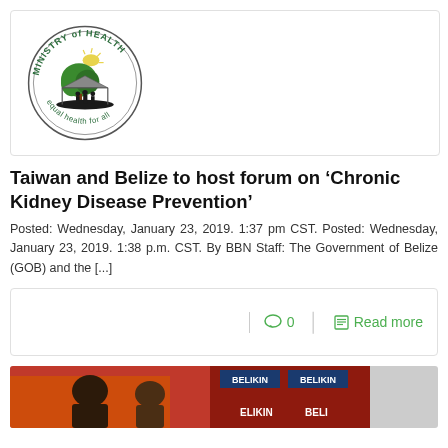[Figure (logo): Ministry of Health Belize circular logo with tree, sun, people silhouettes, and text 'MINISTRY of HEALTH' and 'equal health for all']
Taiwan and Belize to host forum on ‘Chronic Kidney Disease Prevention’
Posted: Wednesday, January 23, 2019. 1:37 pm CST. Posted: Wednesday, January 23, 2019. 1:38 p.m. CST. By BBN Staff: The Government of Belize (GOB) and the [...]
0   Read more
[Figure (photo): Photo showing people at an event with Belikin beer branding/banners visible in background]